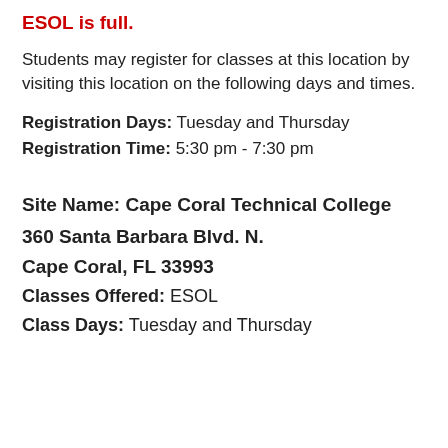ESOL is full.
Students may register for classes at this location by visiting this location on the following days and times.
Registration Days: Tuesday and Thursday
Registration Time: 5:30 pm - 7:30 pm
Site Name: Cape Coral Technical College
360 Santa Barbara Blvd. N.
Cape Coral, FL 33993
Classes Offered:  ESOL
Class Days: Tuesday and Thursday